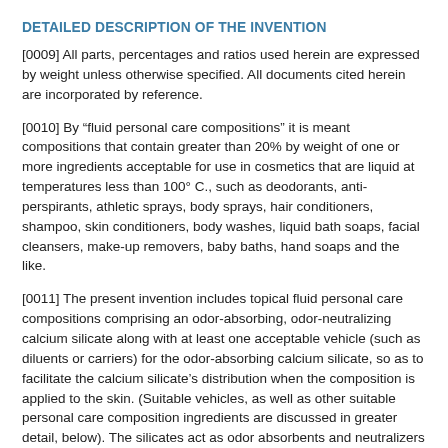DETAILED DESCRIPTION OF THE INVENTION
[0009] All parts, percentages and ratios used herein are expressed by weight unless otherwise specified. All documents cited herein are incorporated by reference.
[0010] By “fluid personal care compositions” it is meant compositions that contain greater than 20% by weight of one or more ingredients acceptable for use in cosmetics that are liquid at temperatures less than 100° C., such as deodorants, anti-perspirants, athletic sprays, body sprays, hair conditioners, shampoo, skin conditioners, body washes, liquid bath soaps, facial cleansers, make-up removers, baby baths, hand soaps and the like.
[0011] The present invention includes topical fluid personal care compositions comprising an odor-absorbing, odor-neutralizing calcium silicate along with at least one acceptable vehicle (such as diluents or carriers) for the odor-absorbing calcium silicate, so as to facilitate the calcium silicate’s distribution when the composition is applied to the skin. (Suitable vehicles, as well as other suitable personal care composition ingredients are discussed in greater detail, below). The silicates act as odor absorbents and neutralizers to absorb and neutralize body malodors, particularly body malodors associated with perspiration. By incorporating these calcium silicates, a wide variety of personal care compositions may be produced that provide effective, long-lasting absorption and neutralization of odors. This allows effective body malodor...